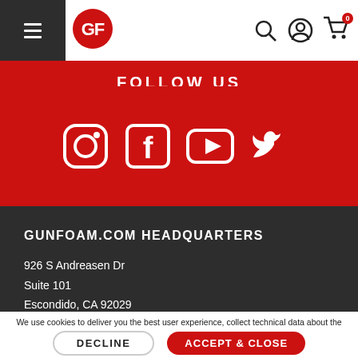GunFoam.com navigation header with logo, hamburger menu, search, account, and cart icons
FOLLOW US
[Figure (infographic): Social media icons: Instagram, Facebook, YouTube, Twitter in white on red background]
GUNFOAM.COM HEADQUARTERS
926 S Andreasen Dr
Suite 101
Escondido, CA 92029
We use cookies to deliver you the best user experience, collect technical data about the use of our site, and help us improve our services. For more information please view our Privacy Policy.
DECLINE
ACCEPT & CLOSE